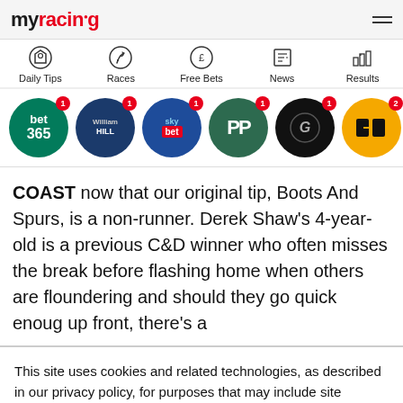myracing
[Figure (screenshot): Navigation bar with icons for Daily Tips, Races, Free Bets, News, Results]
[Figure (screenshot): Row of bookmaker logos: bet365 (badge 1), William Hill (badge 1), Sky Bet (badge 1), PP (badge 1), G Sport (badge 1), Betfair (badge 2), Betway (badge 2), 888 (badge 2)]
COAST now that our original tip, Boots And Spurs, is a non-runner. Derek Shaw's 4-year-old is a previous C&D winner who often misses the break before flashing home when others are floundering and should they go quick enoug up front, there's a
This site uses cookies and related technologies, as described in our privacy policy, for purposes that may include site operation, analytics, enhanced user experience, or advertising. You may choose to consent to our use of these technologies, or manage your own preferences.
Manage Settings | Accept | Decline All